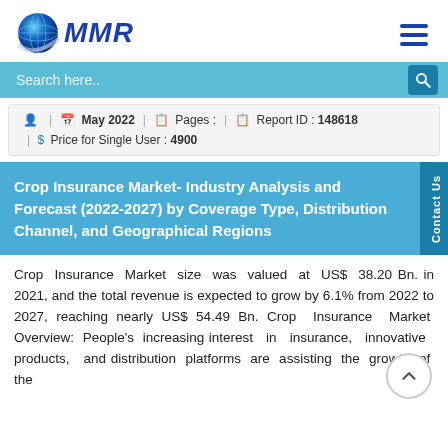[Figure (logo): MMR (Maximize Market Research) logo with globe icon and blue MMR text]
Search here..
May 2022  |  Pages :  |  Report ID : 148618  |  $ Price for Single User : 4900
Crop Insurance Market- Industry Analysis and Forecast (2022-2027) by Coverage Type, Distribution Channel, and Geographical Regions
Crop Insurance Market size was valued at US$ 38.20 Bn. in 2021, and the total revenue is expected to grow by 6.1% from 2022 to 2027, reaching nearly US$ 54.49 Bn. Crop Insurance Market Overview: People's increasing interest in insurance, innovative products, and distribution platforms are assisting the growth of the